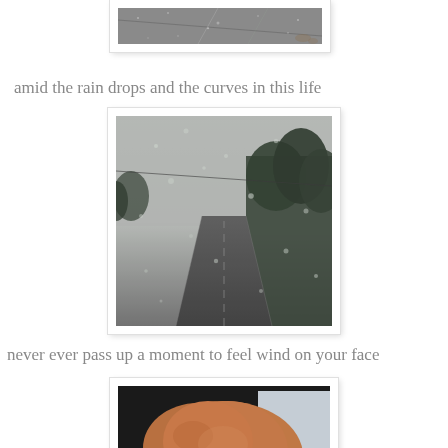[Figure (photo): Rainy windshield view of a road, partial top crop showing rain drops on glass]
amid the rain drops and the curves in this life
[Figure (photo): View through a rain-covered windshield of a winding road with trees on the right side and overcast sky]
never ever pass up a moment to feel wind on your face
[Figure (photo): Partial view of a brown dog with head out of a car window, partially cropped at bottom of page]